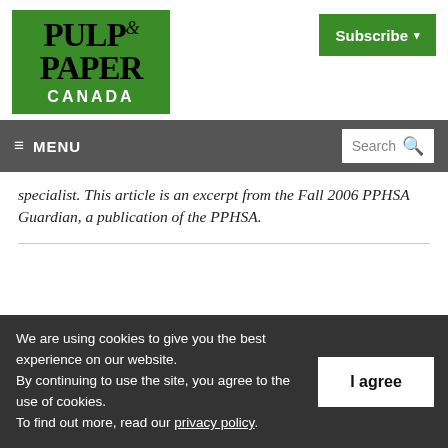[Figure (logo): Pulp & Paper Canada green logo with white CANADA text]
[Figure (other): Green Subscribe button with dropdown arrow]
≡ MENU   Search 🔍
specialist. This article is an excerpt from the Fall 2006 PPHSA Guardian, a publication of the PPHSA.
We are using cookies to give you the best experience on our website. By continuing to use the site, you agree to the use of cookies. To find out more, read our privacy policy.